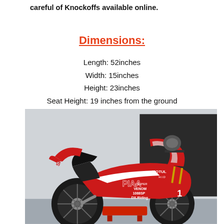careful of Knockoffs available online.
Dimensions:
Length: 52inches
Width: 15inches
Height: 23inches
Seat Height: 19 inches from the ground
[Figure (photo): Red and white racing mini motorcycle (Venom 1088SP, PIAA branded, DX-Riding) parked on a red stand in front of a garage door opening. The bike has race-style fairings with MOTUL, PIAA, and Venom 1088SP branding.]